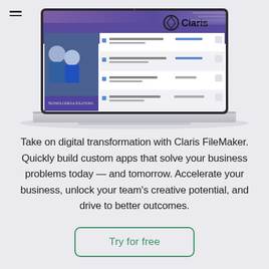[Figure (screenshot): Laptop displaying a Claris FileMaker application interface with a purple/blue background, showing the Claris logo with a circular diamond icon, and a list/table of entries below. A hamburger menu icon appears in the top-left corner of the page.]
Take on digital transformation with Claris FileMaker. Quickly build custom apps that solve your business problems today — and tomorrow. Accelerate your business, unlock your team's creative potential, and drive to better outcomes.
Try for free